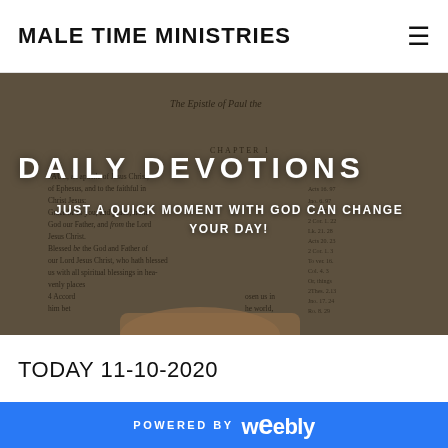MALE TIME MINISTRIES
[Figure (photo): Close-up photograph of a Bible open to the Epistle of Paul (Ephesians), Chapter 1, with a finger pointing at the text. The image is used as a background for the daily devotions overlay.]
DAILY DEVOTIONS
JUST A QUICK MOMENT WITH GOD CAN CHANGE YOUR DAY!
TODAY 11-10-2020
POWERED BY weebly